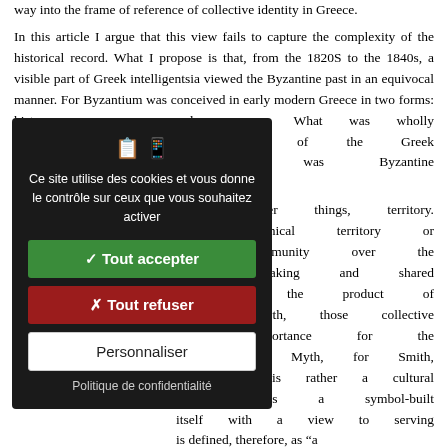way into the frame of reference of collective identity in Greece. In this article I argue that this view fails to capture the complexity of the historical record. What I propose is that, from the 1820S to the 1840s, a visible part of Greek intelligentsia viewed the Byzantine past in an equivocal manner. For Byzantium was conceived in early modern Greece in two forms: history and memory. What was wholly ... ectual climate of the Greek ... historiography was Byzantine ... ries. ... mong other things, territory. ... lar geographical territory or ... pecific community over the ... of myth-making and shared ... is mainly the product of ... d and myth, those collective ... crucial importance for the ... sent status. Myth, for Smith, ... fiction: it is rather a cultural ... ce. Myth is a symbol-built ... itself with a view to serving ... is defined, therefore, as "a
[Figure (screenshot): Cookie consent modal dialog with dark background. Contains icons, French text 'Ce site utilise des cookies et vous donne le contrôle sur ceux que vous souhaitez activer', a green 'Tout accepter' button, a red 'Tout refuser' button, a white 'Personnaliser' button, and a 'Politique de confidentialité' link.]